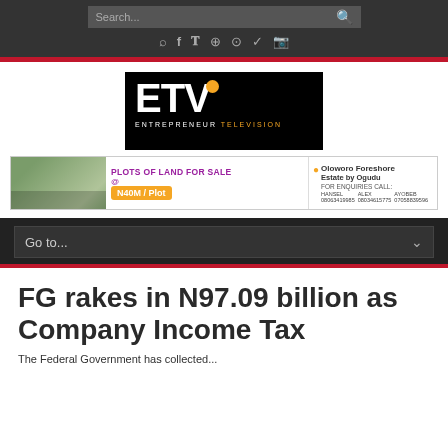Search... [search icon]
[Figure (logo): ETV Entrepreneur Television logo - black background with white bold letters ETV, yellow dot over V, and subtitle ENTREPRENEUR TELEVISION in yellow]
[Figure (infographic): Advertisement banner: Plots of Land for Sale at N40M/Plot, Oloworo Foreshore Estate by Ogudu, for enquiries call: HANSEL, ALEX, AYOBEB with phone numbers]
Go to...
FG rakes in N97.09 billion as Company Income Tax
The Federal Government has collected...